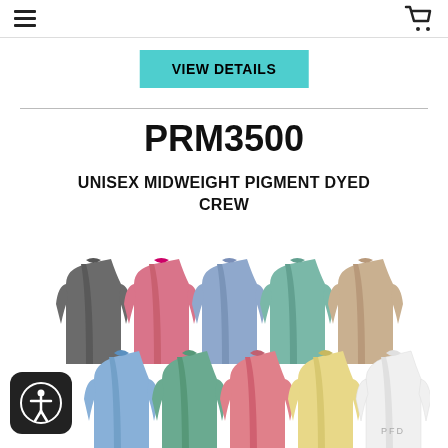VIEW DETAILS (navigation header with hamburger menu and cart icon)
VIEW DETAILS
PRM3500
UNISEX MIDWEIGHT PIGMENT DYED CREW
[Figure (photo): Product photo showing 10 pigment-dyed crewneck sweatshirts in various colors: charcoal, pink, blue/lavender, teal, tan/khaki (top row), and light blue, green, coral/salmon, yellow, white with PFD text (bottom row)]